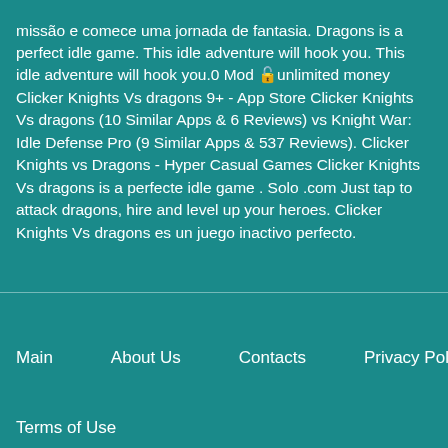missão e comece uma jornada de fantasia. Dragons is a perfect idle game. This idle adventure will hook you. This idle adventure will hook you.0 Mod 🔓unlimited money Clicker Knights Vs dragons 9+ - App Store Clicker Knights Vs dragons (10 Similar Apps & 6 Reviews) vs Knight War: Idle Defense Pro (9 Similar Apps & 537 Reviews). Clicker Knights vs Dragons - Hyper Casual Games Clicker Knights Vs dragons is a perfecte idle game . Solo .com Just tap to attack dragons, hire and level up your heroes. Clicker Knights Vs dragons es un juego inactivo perfecto.
Main   About Us   Contacts   Privacy Policy   Terms of Use